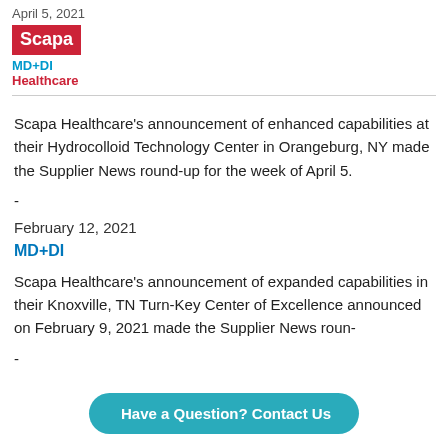April 5, 2021
[Figure (logo): Scapa MD+DI Healthcare logo with red background block for Scapa, blue MD+DI text, and red Healthcare text]
Scapa Healthcare's announcement of enhanced capabilities at their Hydrocolloid Technology Center in Orangeburg, NY made the Supplier News round-up for the week of April 5.
-
February 12, 2021
MD+DI
Scapa Healthcare's announcement of expanded capabilities in their Knoxville, TN Turn-Key Center of Excellence announced on February 9, 2021 made the Supplier News roun-
-
Have a Question? Contact Us